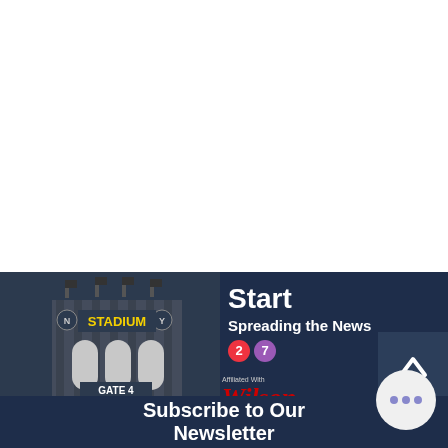[Figure (illustration): White empty space at top of page]
[Figure (illustration): Stadium gate illustration with dark navy background showing a stylized stadium entrance labeled GATE 4 with STADIUM text in yellow, flagpoles on top, and N Y markers]
Start Spreading the News
[Figure (infographic): Subway line badge circles: red circle with 2, purple circle with 7]
[Figure (logo): Wilson logo with Affiliated With text and POWERED BY ST logo]
Subscribe to Our Newsletter